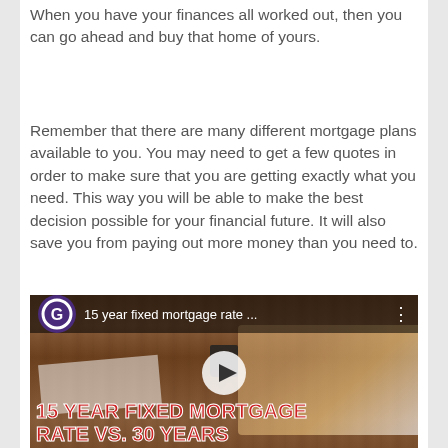When you have your finances all worked out, then you can go ahead and buy that home of yours.
Remember that there are many different mortgage plans available to you. You may need to get a few quotes in order to make sure that you are getting exactly what you need. This way you will be able to make the best decision possible for your financial future. It will also save you from paying out more money than you need to.
[Figure (other): YouTube video thumbnail showing a person typing on a laptop with financial documents on a wooden desk. Title overlay reads '15 year fixed mortgage rate ...' with a play button in the center. Bottom text reads '15 YEAR FIXED MORTGAGE RATE VS. 30 YEARS' in bold red uppercase letters with white outline.]